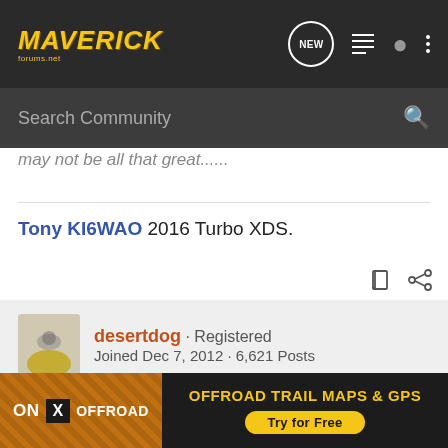MAVERICK Forums - Navigation bar with Search Community
may not be all that great......
Tony KI6WAO 2016 Turbo XDS.
desertdog · Registered
Joined Dec 7, 2012 · 6,621 Posts
#10 · Nov 16, 2013
I have the 357 intercom and use an iPod for my music to my helmet b... ...thaust and I ca...
[Figure (screenshot): ON X OFFROAD advertisement banner: 'OFFROAD TRAIL MAPS & GPS - Try for Free']